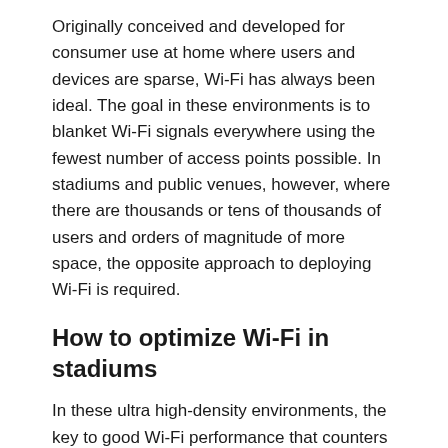Originally conceived and developed for consumer use at home where users and devices are sparse, Wi-Fi has always been ideal. The goal in these environments is to blanket Wi-Fi signals everywhere using the fewest number of access points possible. In stadiums and public venues, however, where there are thousands or tens of thousands of users and orders of magnitude of more space, the opposite approach to deploying Wi-Fi is required.
How to optimize Wi-Fi in stadiums
In these ultra high-density environments, the key to good Wi-Fi performance that counters conventional Wi-Fi wisdom is to contain, as much as possible, Wi-Fi signals to a physical area. This helps limit the number of users who can connect to a given access point. More importantly, it provides better signal separation to minimize co-channel interference that occurs when the signals from access points bleed into each other and further degrade Wi-Fi capacity.